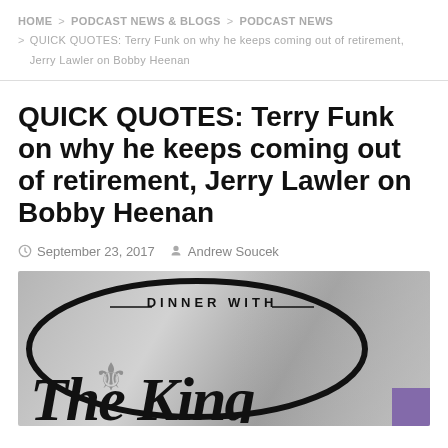HOME > PODCAST NEWS & BLOGS > PODCAST NEWS > QUICK QUOTES: Terry Funk on why he keeps coming out of retirement, Jerry Lawler on Bobby Heenan
QUICK QUOTES: Terry Funk on why he keeps coming out of retirement, Jerry Lawler on Bobby Heenan
September 23, 2017  Andrew Soucek
[Figure (photo): Grayscale podcast logo image reading 'DINNER WITH' at the top and 'The King' in large script lettering, with a fleur-de-lis symbol and a circular border, with a small purple badge in the bottom right corner.]